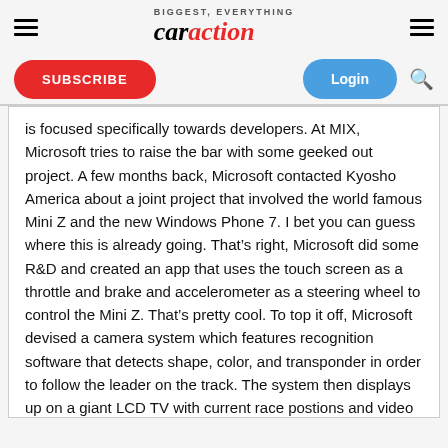car action
SUBSCRIBE
Login
is focused specifically towards developers. At MIX, Microsoft tries to raise the bar with some geeked out project. A few months back, Microsoft contacted Kyosho America about a joint project that involved the world famous Mini Z and the new Windows Phone 7. I bet you can guess where this is already going. That’s right, Microsoft did some R&D and created an app that uses the touch screen as a throttle and brake and accelerometer as a steering wheel to control the Mini Z. That’s pretty cool. To top it off, Microsoft devised a camera system which features recognition software that detects shape, color, and transponder in order to follow the leader on the track. The system then displays up on a giant LCD TV with current race postions and video that’s switching from camera to camera as the cars pass by them. Think of